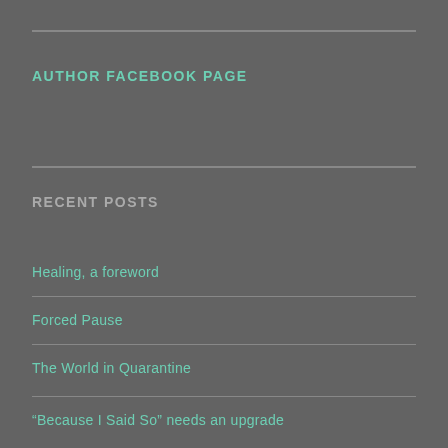AUTHOR FACEBOOK PAGE
RECENT POSTS
Healing, a foreword
Forced Pause
The World in Quarantine
“Because I Said So” needs an upgrade